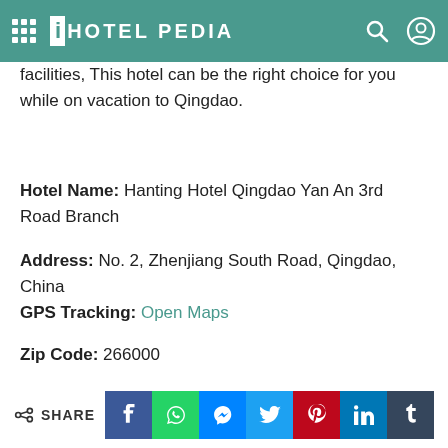iHOTEL PEDIA
facilities, This hotel can be the right choice for you while on vacation to Qingdao.
Hotel Name: Hanting Hotel Qingdao Yan An 3rd Road Branch
Address: No. 2, Zhenjiang South Road, Qingdao, China
GPS Tracking: Open Maps
Zip Code: 266000
Hotel Stars: 2
Rates From: USD 47
SHARE — Facebook, WhatsApp, Messenger, Twitter, Pinterest, LinkedIn, Tumblr